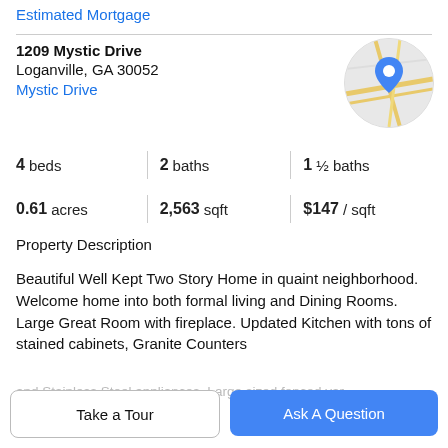Estimated Mortgage
1209 Mystic Drive
Loganville, GA 30052
Mystic Drive
[Figure (map): Circular map thumbnail showing street map with blue location pin marker]
4 beds | 2 baths | 1 ½ baths
0.61 acres | 2,563 sqft | $147 / sqft
Property Description
Beautiful Well Kept Two Story Home in quaint neighborhood. Welcome home into both formal living and Dining Rooms. Large Great Room with fireplace. Updated Kitchen with tons of stained cabinets, Granite Counters and Stainless Steel appliances. Large sized fenced yar…
Take a Tour
Ask A Question